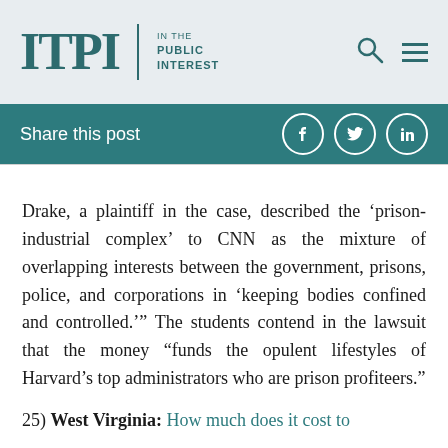ITPI | IN THE PUBLIC INTEREST
Share this post
Drake, a plaintiff in the case, described the ‘prison-industrial complex’ to CNN as the mixture of overlapping interests between the government, prisons, police, and corporations in ‘keeping bodies confined and controlled.’” The students contend in the lawsuit that the money “funds the opulent lifestyles of Harvard’s top administrators who are prison profiteers.”
25) West Virginia: How much does it cost to